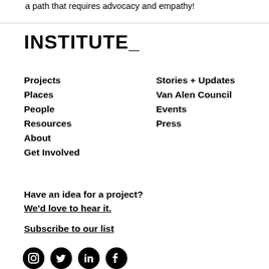a path that requires advocacy and empathy!
INSTITUTE_
Projects
Places
People
Resources
About
Get Involved
Stories + Updates
Van Alen Council
Events
Press
Have an idea for a project? We'd love to hear it.
Subscribe to our list
[Figure (illustration): Social media icons: Instagram, Twitter, LinkedIn, Facebook]